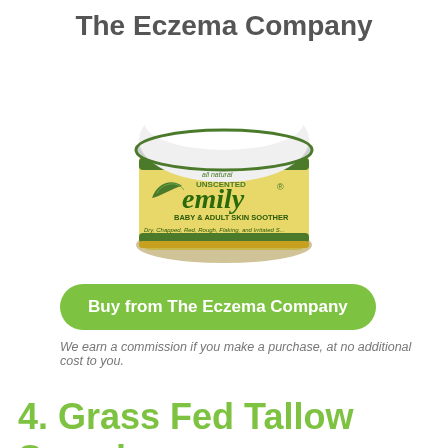The Eczema Company
[Figure (photo): A jar of Emily Skin Soother - all natural unscented Baby & Adult Skin Soother product with green and white label]
Buy from The Eczema Company
We earn a commission if you make a purchase, at no additional cost to you.
4. Grass Fed Tallow Soap b...